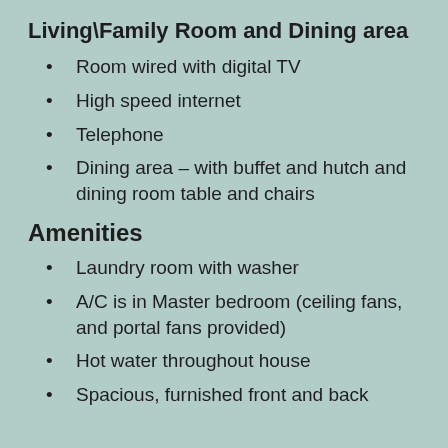Living\Family Room and Dining area
Room wired with digital TV
High speed internet
Telephone
Dining area – with buffet and hutch and dining room table and chairs
Amenities
Laundry room with washer
A/C is in Master bedroom (ceiling fans, and portal fans provided)
Hot water throughout house
Spacious, furnished front and back